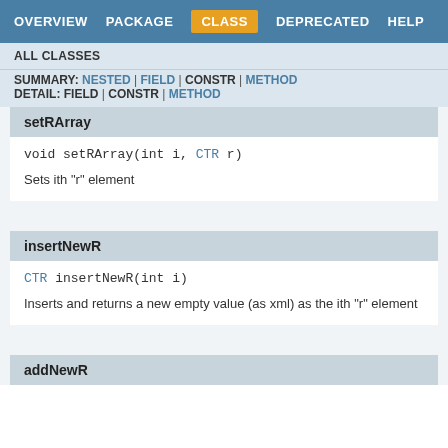OVERVIEW | PACKAGE | CLASS | DEPRECATED | HELP
ALL CLASSES
SUMMARY: NESTED | FIELD | CONSTR | METHOD
DETAIL: FIELD | CONSTR | METHOD
setRArray
void setRArray(int i, CTR r)
Sets ith "r" element
insertNewR
CTR insertNewR(int i)
Inserts and returns a new empty value (as xml) as the ith "r" element
addNewR